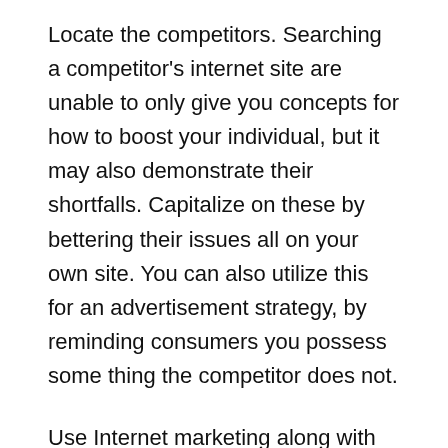Locate the competitors. Searching a competitor's internet site are unable to only give you concepts for how to boost your individual, but it may also demonstrate their shortfalls. Capitalize on these by bettering their issues all on your own site. You can also utilize this for an advertisement strategy, by reminding consumers you possess some thing the competitor does not.
Use Internet marketing along with physical real life promoting. Keep in touch with the subscriber base on a individual level. The very best marketing, on the internet or off-line, is word of mouth promoting. An fired up consumer will generate fascination with your company speedier, and a lot more successfully, than any amount of marketing you could do.